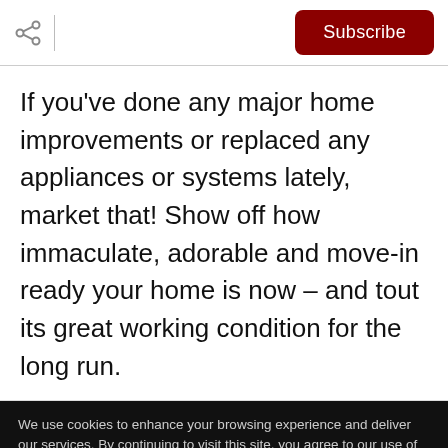Subscribe
If you've done any major home improvements or replaced any appliances or systems lately, market that! Show off how immaculate, adorable and move-in ready your home is now – and tout its great working condition for the long run.
We use cookies to enhance your browsing experience and deliver our services. By continuing to visit this site, you agree to our use of cookies. More info
OK